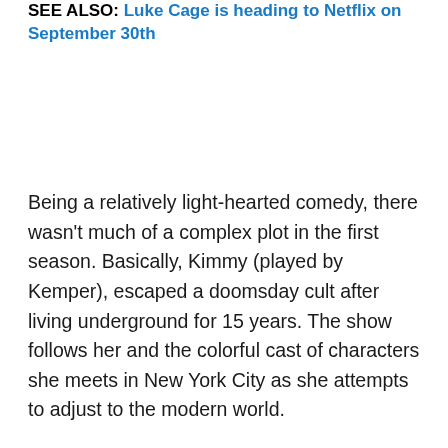SEE ALSO: Luke Cage is heading to Netflix on September 30th
Being a relatively light-hearted comedy, there wasn't much of a complex plot in the first season. Basically, Kimmy (played by Kemper), escaped a doomsday cult after living underground for 15 years. The show follows her and the colorful cast of characters she meets in New York City as she attempts to adjust to the modern world.